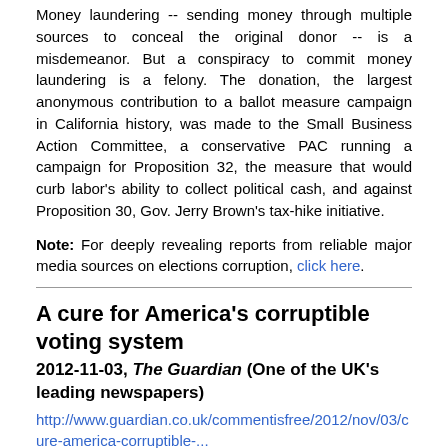Money laundering -- sending money through multiple sources to conceal the original donor -- is a misdemeanor. But a conspiracy to commit money laundering is a felony. The donation, the largest anonymous contribution to a ballot measure campaign in California history, was made to the Small Business Action Committee, a conservative PAC running a campaign for Proposition 32, the measure that would curb labor's ability to collect political cash, and against Proposition 30, Gov. Jerry Brown's tax-hike initiative.
Note: For deeply revealing reports from reliable major media sources on elections corruption, click here.
A cure for America's corruptible voting system
2012-11-03, The Guardian (One of the UK's leading newspapers)
http://www.guardian.co.uk/commentisfree/2012/nov/03/cure-america-corruptible-...
The secret vote was, in its time, a great idea. Before the secret ballot was popularized, it was standard practice to intimidate